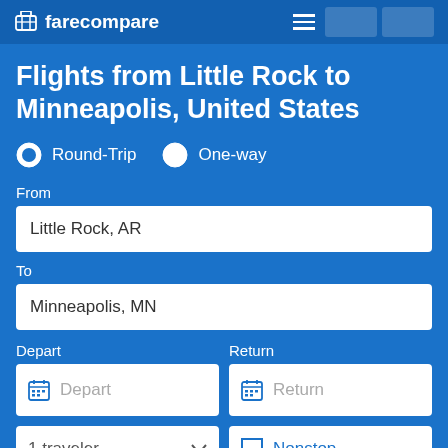farecompare
Flights from Little Rock to Minneapolis, United States
Round-Trip  One-way
From
Little Rock, AR
To
Minneapolis, MN
Depart
Return
Depart
Return
1 traveler
Nonstop